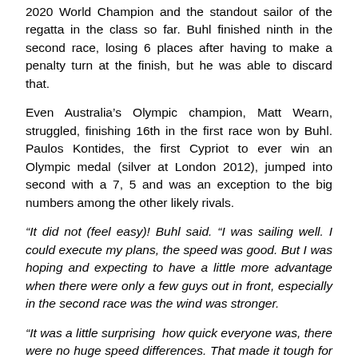2020 World Champion and the standout sailor of the regatta in the class so far. Buhl finished ninth in the second race, losing 6 places after having to make a penalty turn at the finish, but he was able to discard that.
Even Australia's Olympic champion, Matt Wearn, struggled, finishing 16th in the first race won by Buhl. Paulos Kontides, the first Cypriot to ever win an Olympic medal (silver at London 2012), jumped into second with a 7, 5 and was an exception to the big numbers among the other likely rivals.
“It did not (feel easy)! Buhl said. “I was sailing well. I could execute my plans, the speed was good. But I was hoping and expecting to have a little more advantage when there were only a few guys out in front, especially in the second race was the wind was stronger.
“It was a little surprising  how quick everyone was, there were no huge speed differences. That made it tough for everybody because you had to hike and fight and it was